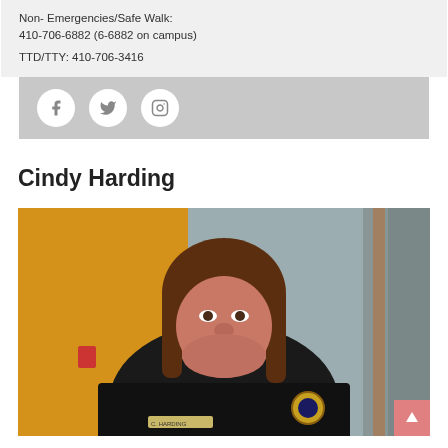Non- Emergencies/Safe Walk:
410-706-6882 (6-6882 on campus)

TTD/TTY: 410-706-3416
[Figure (other): Social media icons: Facebook, Twitter, Instagram circles on gray background]
Cindy Harding
[Figure (photo): Photo of Cindy Harding, a woman with brown hair wearing a black uniform with badge and name tag reading C. HARDING, standing in a room with yellow and gray walls]